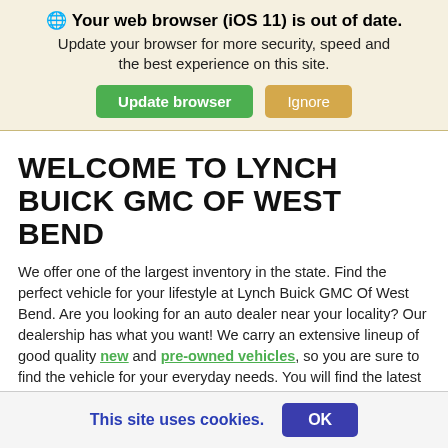🌐 Your web browser (iOS 11) is out of date. Update your browser for more security, speed and the best experience on this site. [Update browser] [Ignore]
WELCOME TO LYNCH BUICK GMC OF WEST BEND
We offer one of the largest inventory in the state. Find the perfect vehicle for your lifestyle at Lynch Buick GMC Of West Bend. Are you looking for an auto dealer near your locality? Our dealership has what you want! We carry an extensive lineup of good quality new and pre-owned vehicles, so you are sure to find the vehicle for your everyday needs. You will find the latest models within our selection of new and used vehicles.
Come down and let one of our highly skilled sales associate help you to locate your next new vehicle at Lynch Buick GMC Of West
This site uses cookies. OK